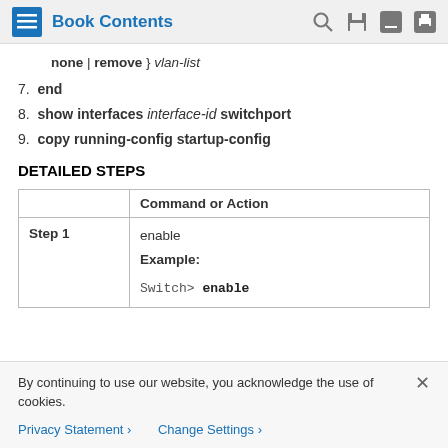Book Contents
none | remove } vlan-list
7. end
8. show interfaces interface-id switchport
9. copy running-config startup-config
DETAILED STEPS
|  | Command or Action |
| --- | --- |
| Step 1 | enable
Example:

Switch> enable |
By continuing to use our website, you acknowledge the use of cookies.
Privacy Statement > Change Settings >